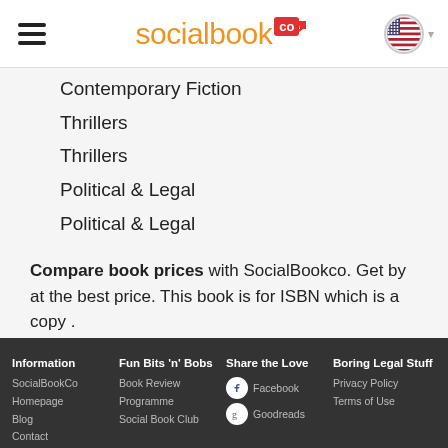socialbook.co
Contemporary Fiction
Thrillers
Thrillers
Political & Legal
Political & Legal
Compare book prices with SocialBookco. Get by at the best price. This book is for ISBN which is a copy .
Information: SocialBookCo, Homepage, Blog, Contact | Fun Bits 'n' Bobs: Book Review, Programme, Social Book Club | Share the Love: Facebook, Goodreads | Boring Legal Stuff: Privacy Policy, Terms of Use